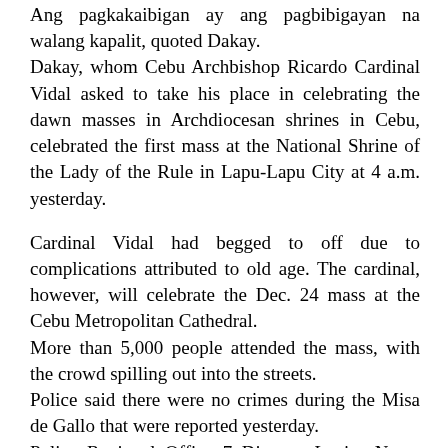Ang pagkakaibigan ay ang pagbibigayan na walang kapalit, quoted Dakay.
Dakay, whom Cebu Archbishop Ricardo Cardinal Vidal asked to take his place in celebrating the dawn masses in Archdiocesan shrines in Cebu, celebrated the first mass at the National Shrine of the Lady of the Rule in Lapu-Lapu City at 4 a.m. yesterday.
Cardinal Vidal had begged to off due to complications attributed to old age. The cardinal, however, will celebrate the Dec. 24 mass at the Cebu Metropolitan Cathedral.
More than 5,000 people attended the mass, with the crowd spilling out into the streets.
Police said there were no crimes during the Misa de Gallo that were reported yesterday.
Police Regional Office 7 Director Lani-o Nerez said that from 4 to 6 a.m., police offices in Central Visayas did not receive any alarm that happened near churches.